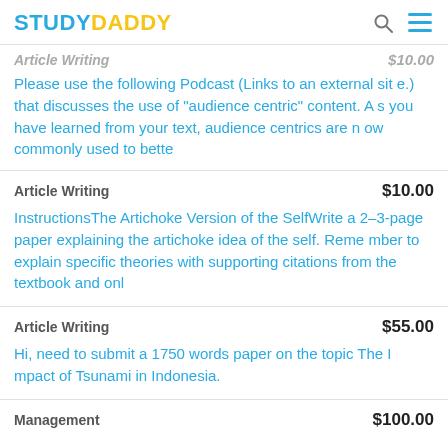STUDYDADDY
Article Writing $10.00 Please use the following Podcast (Links to an external site.) that discusses the use of "audience centric" content. As you have learned from your text, audience centrics are now commonly used to bette
Article Writing $10.00 InstructionsThe Artichoke Version of the SelfWrite a 2–3-page paper explaining the artichoke idea of the self. Remember to explain specific theories with supporting citations from the textbook and onl
Article Writing $55.00 Hi, need to submit a 1750 words paper on the topic The Impact of Tsunami in Indonesia.
Management $100.00